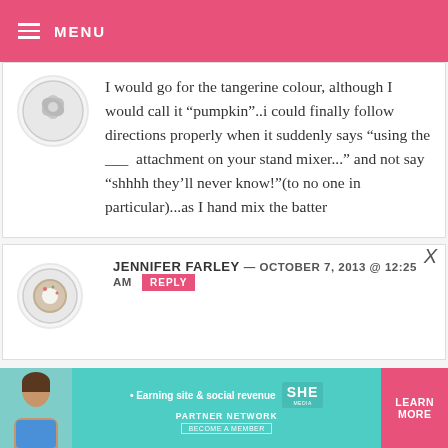MENU
I would go for the tangerine colour, although I would call it “pumpkin”..i could finally follow directions properly when it suddenly says “using the ___ attachment on your stand mixer...” and not say “shhhh they’ll never know!”(to no one in particular)...as I hand mix the batter
JENNIFER FARLEY — OCTOBER 7, 2013 @ 12:25 AM REPLY
[Figure (infographic): Advertisement banner for SHE PARTNER NETWORK with teal background, person photo on left, text • Earning site & social revenue, SHE logo, PARTNER NETWORK, BECOME A MEMBER, and LEARN MORE button]